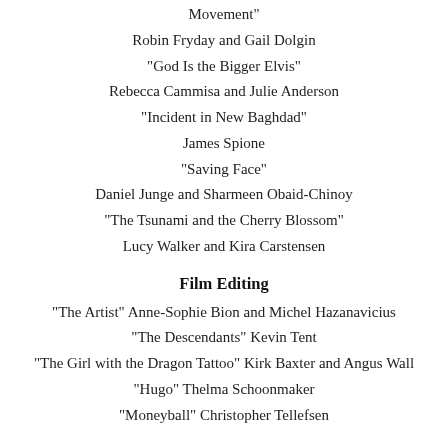Movement"
Robin Fryday and Gail Dolgin
"God Is the Bigger Elvis"
Rebecca Cammisa and Julie Anderson
"Incident in New Baghdad"
James Spione
"Saving Face"
Daniel Junge and Sharmeen Obaid-Chinoy
"The Tsunami and the Cherry Blossom"
Lucy Walker and Kira Carstensen
Film Editing
"The Artist" Anne-Sophie Bion and Michel Hazanavicius
"The Descendants" Kevin Tent
"The Girl with the Dragon Tattoo" Kirk Baxter and Angus Wall
"Hugo" Thelma Schoonmaker
"Moneyball" Christopher Tellefsen